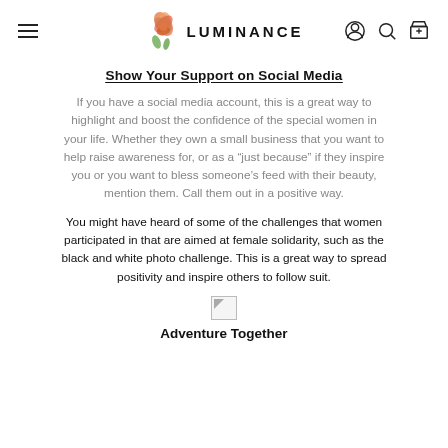LUMINANCE
Show Your Support on Social Media
If you have a social media account, this is a great way to highlight and boost the confidence of the special women in your life. Whether they own a small business that you want to help raise awareness for, or as a “just because” if they inspire you or you want to bless someone’s feed with their beauty, mention them. Call them out in a positive way.
You might have heard of some of the challenges that women participated in that are aimed at female solidarity, such as the black and white photo challenge. This is a great way to spread positivity and inspire others to follow suit.
[Figure (other): Broken/missing image placeholder]
Adventure Together